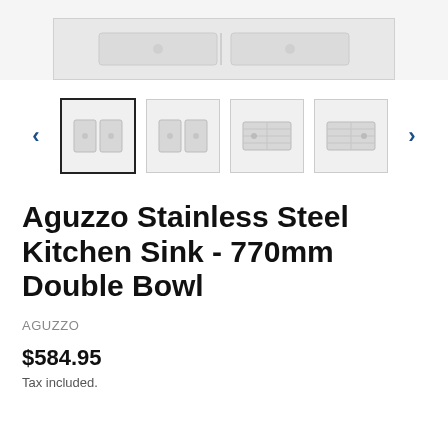[Figure (photo): Top portion of a stainless steel double bowl kitchen sink product image, partially visible at the top of the page]
[Figure (photo): Thumbnail carousel showing 4 product images of the Aguzzo kitchen sink from different angles, with left and right navigation arrows]
Aguzzo Stainless Steel Kitchen Sink - 770mm Double Bowl
AGUZZO
$584.95
Tax included.